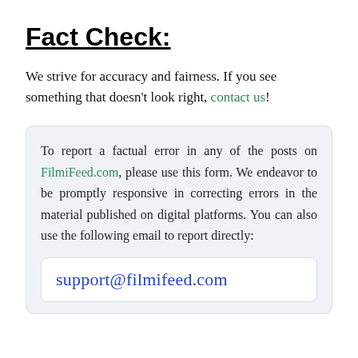Fact Check:
We strive for accuracy and fairness. If you see something that doesn't look right, contact us!
To report a factual error in any of the posts on FilmiFeed.com, please use this form. We endeavor to be promptly responsive in correcting errors in the material published on digital platforms. You can also use the following email to report directly:
support@filmifeed.com